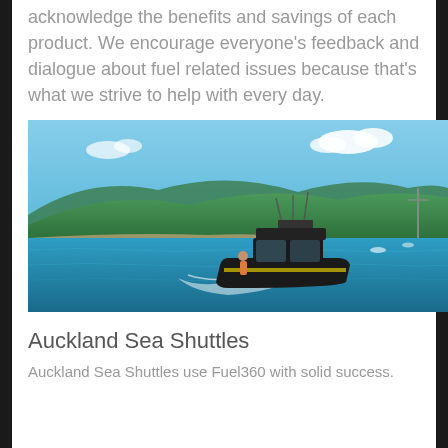Fuel360 customers are happy to acknowledge the benefits and savings of each product. We encourage everyone's feedback and dialogue about fuel related issues because that's what we strive to help with every day.
[Figure (photo): A black motorboat cruising on blue water with green forested hills and a beach in the background under a blue sky with scattered clouds. A person is visible standing at the back of the boat.]
Auckland Sea Shuttles
Auckland Sea Shuttles use Fuel360 with solid success.